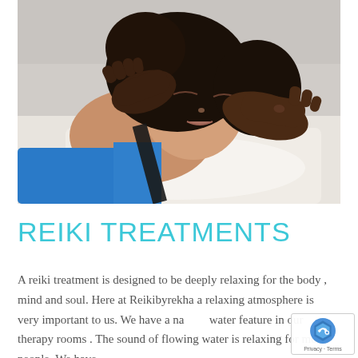[Figure (photo): A woman with dark curly hair lying on a white towel with eyes closed, wearing a blue top, while dark hands are placed on her temples performing a reiki treatment.]
REIKI TREATMENTS
A reiki treatment is designed to be deeply relaxing for the body , mind and soul. Here at Reikibyrekha a relaxing atmosphere is very important to us. We have a na... water feature in our therapy rooms . The sound of flowing water is relaxing for most people. We have